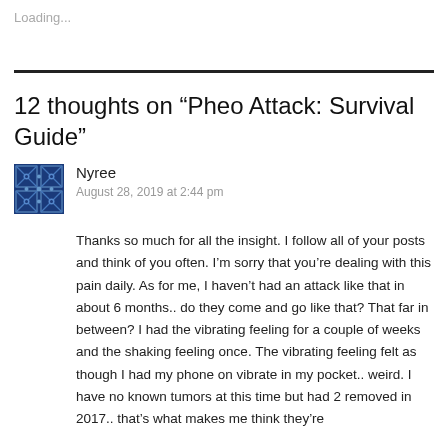Loading...
12 thoughts on “Pheo Attack: Survival Guide”
[Figure (illustration): Blue and white decorative avatar icon with geometric pattern]
Nyree
August 28, 2019 at 2:44 pm
Thanks so much for all the insight. I follow all of your posts and think of you often. I’m sorry that you’re dealing with this pain daily. As for me, I haven’t had an attack like that in about 6 months.. do they come and go like that? That far in between? I had the vibrating feeling for a couple of weeks and the shaking feeling once. The vibrating feeling felt as though I had my phone on vibrate in my pocket.. weird. I have no known tumors at this time but had 2 removed in 2017.. that’s what makes me think they’re